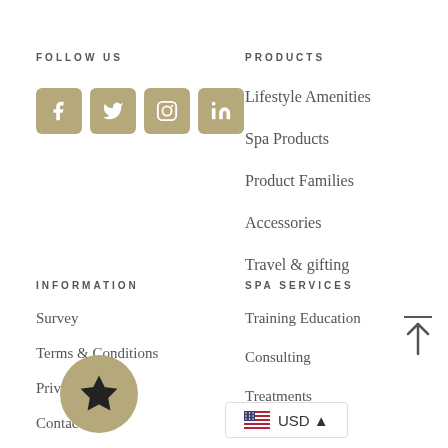FOLLOW US
[Figure (infographic): Four social media icons (Facebook, Twitter, Instagram, LinkedIn) as tan/beige rounded squares with white icons]
PRODUCTS
Lifestyle Amenities
Spa Products
Product Families
Accessories
Travel & gifting
INFORMATION
SPA SERVICES
Survey
Terms & Conditions
Privacy
Contact Us
Training Education
Consulting
Treatments
[Figure (illustration): Back-to-top button with horizontal line above an upward arrow]
[Figure (logo): Circular tan/beige badge with a black star in the center]
USD